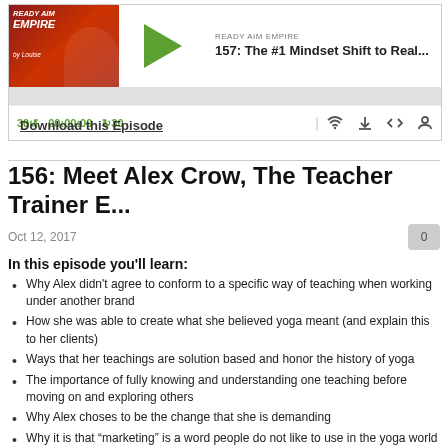[Figure (screenshot): Podcast player widget for 'Ready Aim Empire' podcast showing episode 157: The #1 Mindset Shift to Real... with play button, progress bar, and controls showing 30s skip back, 00:00:00 time, 30s skip forward, and icons for cast, download, embed, and subscribe]
Download this Episode
156: Meet Alex Crow, The Teacher Trainer E...
Oct 12, 2017
In this episode you'll learn:
Why Alex didn't agree to conform to a specific way of teaching when working under another brand
How she was able to create what she believed yoga meant (and explain this to her clients)
Ways that her teachings are solution based and honor the history of yoga
The importance of fully knowing and understanding one teaching before moving on and exploring others
Why Alex choses to be the change that she is demanding
Why it is that “marketing” is a word people do not like to use in the yoga world